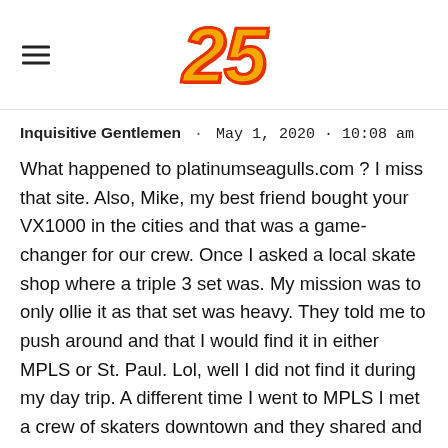25
Inquisitive Gentlemen · May 1, 2020 · 10:08 am
What happened to platinumseagulls.com ? I miss that site. Also, Mike, my best friend bought your VX1000 in the cities and that was a game-changer for our crew. Once I asked a local skate shop where a triple 3 set was. My mission was to only ollie it as that set was heavy. They told me to push around and that I would find it in either MPLS or St. Paul. Lol, well I did not find it during my day trip. A different time I went to MPLS I met a crew of skaters downtown and they shared and took me to all their spots and that is a much fonder memory. Maybe the shop thought I was some sort of skate wizard that was going to annihilate their triple 3 set. Lol